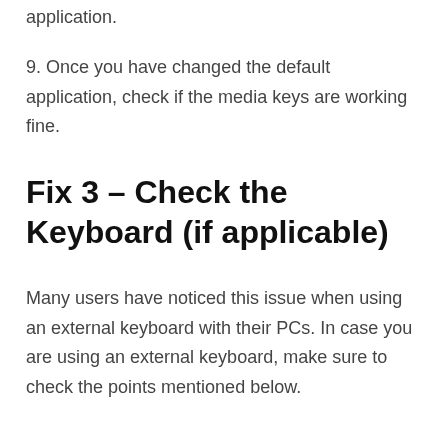application.
9. Once you have changed the default application, check if the media keys are working fine.
Fix 3 – Check the Keyboard (if applicable)
Many users have noticed this issue when using an external keyboard with their PCs. In case you are using an external keyboard, make sure to check the points mentioned below.